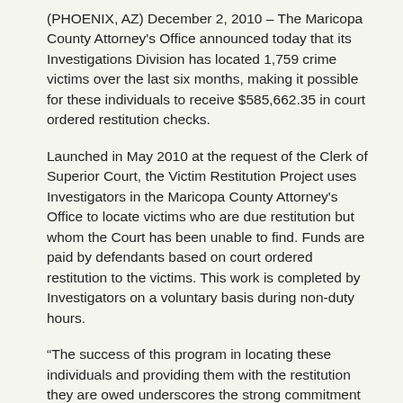(PHOENIX, AZ) December 2, 2010 – The Maricopa County Attorney's Office announced today that its Investigations Division has located 1,759 crime victims over the last six months, making it possible for these individuals to receive $585,662.35 in court ordered restitution checks.
Launched in May 2010 at the request of the Clerk of Superior Court, the Victim Restitution Project uses Investigators in the Maricopa County Attorney's Office to locate victims who are due restitution but whom the Court has been unable to find. Funds are paid by defendants based on court ordered restitution to the victims. This work is completed by Investigators on a voluntary basis during non-duty hours.
“The success of this program in locating these individuals and providing them with the restitution they are owed underscores the strong commitment of this office to honor and respect the rights of crime victims,” remarked Maricopa County Attorney Bill Montgomery. “This is also an example of the cooperative, collaborative relationship our office intends to have with other government agencies in service to the people of Maricopa County,” he added.